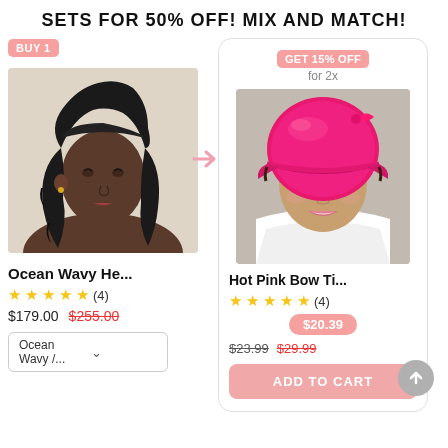SETS FOR 50% OFF! MIX AND MATCH!
[Figure (photo): Woman with long ocean wavy hair wearing a headband, side profile view]
Ocean Wavy He...
★★★★★ (4)
$179.00  $255.00
Ocean Wavy /...
[Figure (photo): Woman smiling wearing a hot pink satin bow tie bonnet]
Hot Pink Bow Ti...
★★★★★ (4)
$20.39  $23.99  $29.99
ADD TO CART